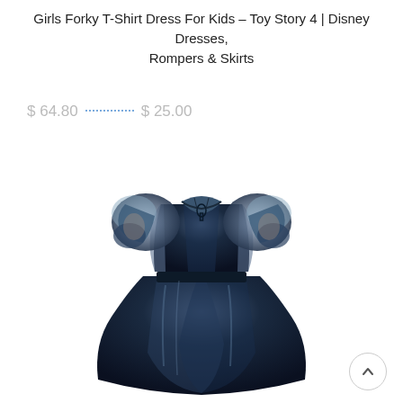Girls Forky T-Shirt Dress For Kids – Toy Story 4 | Disney Dresses, Rompers & Skirts
$ 64.80   $ 25.00
[Figure (photo): A navy blue girls dress with sheer puff sleeves, a round back neckline with keyhole detail, fitted bodice and full skirt, displayed against a white background.]